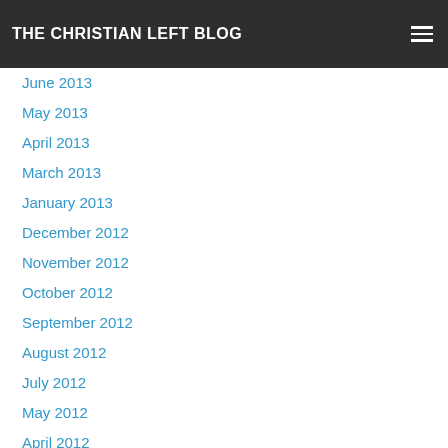THE CHRISTIAN LEFT BLOG
June 2013
May 2013
April 2013
March 2013
January 2013
December 2012
November 2012
October 2012
September 2012
August 2012
July 2012
May 2012
April 2012
March 2012
February 2012
January 2012
November 2011